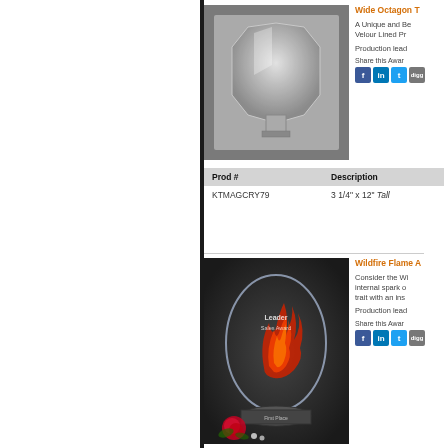[Figure (photo): Crystal Wide Octagon Trophy award on grey background]
Wide Octagon T
A Unique and Be Velour Lined Pr
Production lead
Share this Awar
| Prod # | Description |
| --- | --- |
| KTMAGCRY79 | 3 1/4" x 12" Tall |
[Figure (photo): Wildfire Flame Award crystal trophy with red flame design and rose decoration]
Wildfire Flame A
Consider the Wi internal spark o trait with an ins
Production lead
Share this Awar